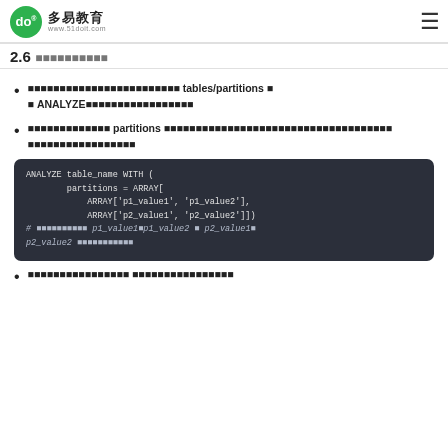多易教育 www.51doit.com
2.6 子分区查询条件过滤
如果查询条件（谓词）中没有包含所有分区列，则无法对 tables/partitions 进行分区裁剪，这种情况下需要用 ANALYZE 分析统计信息来帮助优化器提升执行效率
如果查询条件中包含了 partitions 的分区列，但是不想扫描全部分区数据，则可以使用以下语法来指定扫描的部分分区数据
ANALYZE table_name WITH (
        partitions = ARRAY[
            ARRAY['p1_value1', 'p1_value2'],
            ARRAY['p2_value1', 'p2_value2']])
# 以上示例代码中 p1_value1、p1_value2 和 p2_value1、p2_value2 是分区的具体值
查询时分区条件的写法与查询条件的写法相同